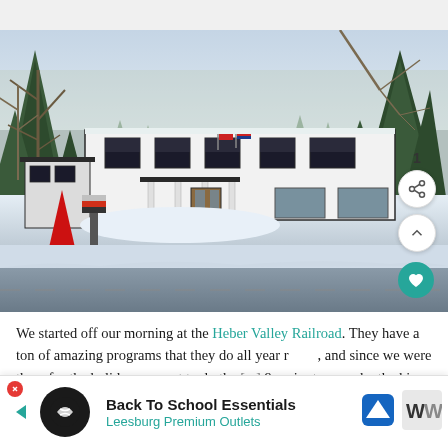[Figure (photo): Winter photograph of a white two-story building with black-trimmed windows and flags, surrounded by snow-covered ground and trees (evergreens and bare deciduous trees). A red decorative element is visible at lower left. The scene is a snowy daytime exterior shot.]
We started off our morning at the Heber Valley Railroad. They have a ton of amazing programs that they do all year round, and since we were there for the holidays we got to do the [polar express / 90 minute round...] be the kis...
Back To School Essentials
Leesburg Premium Outlets